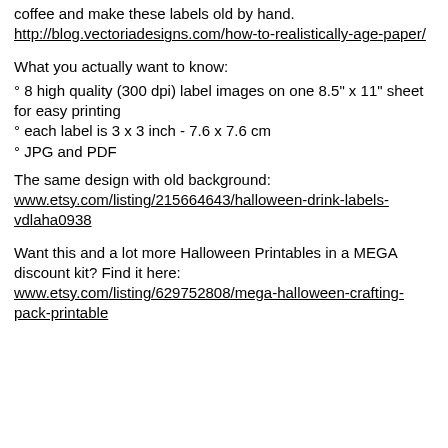coffee and make these labels old by hand. http://blog.vectoriadesigns.com/how-to-realistically-age-paper/
What you actually want to know:
° 8 high quality (300 dpi) label images on one 8.5" x 11" sheet for easy printing
° each label is 3 x 3 inch - 7.6 x 7.6 cm
° JPG and PDF
The same design with old background: www.etsy.com/listing/215664643/halloween-drink-labels-vdlaha0938
Want this and a lot more Halloween Printables in a MEGA discount kit? Find it here: www.etsy.com/listing/629752808/mega-halloween-crafting-pack-printable